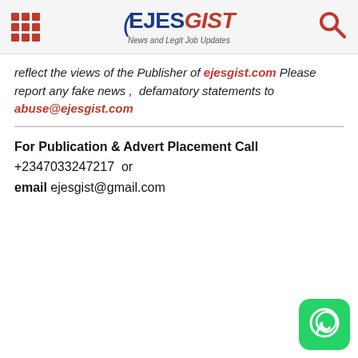EJESGIST News and Legit Job Updates
reflect the views of the Publisher of ejesgist.com Please report any fake news ,  defamatory statements to abuse@ejesgist.com
For Publication & Advert Placement Call +2347033247217  or email ejesgist@gmail.com